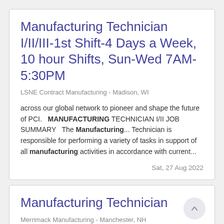Manufacturing Technician I/II/III-1st Shift-4 Days a Week, 10 hour Shifts, Sun-Wed 7AM-5:30PM
LSNE Contract Manufacturing - Madison, WI
across our global network to pioneer and shape the future of PCI.   MANUFACTURING TECHNICIAN I/II JOB SUMMARY   The Manufacturing... Technician is responsible for performing a variety of tasks in support of all manufacturing activities in accordance with current...
Sat, 27 Aug 2022
Manufacturing Technician
Merrimack Manufacturing - Manchester, NH